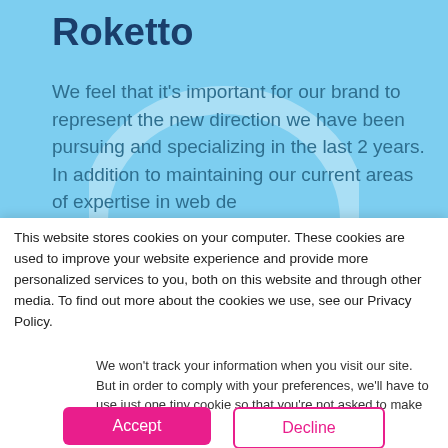Roketto
We feel that it's important for our brand to represent the new direction we have been pursuing and specializing in the last 2 years. In addition to maintaining our current areas of expertise in web de
This website stores cookies on your computer. These cookies are used to improve your website experience and provide more personalized services to you, both on this website and through other media. To find out more about the cookies we use, see our Privacy Policy.
We won't track your information when you visit our site. But in order to comply with your preferences, we'll have to use just one tiny cookie so that you're not asked to make this choice again.